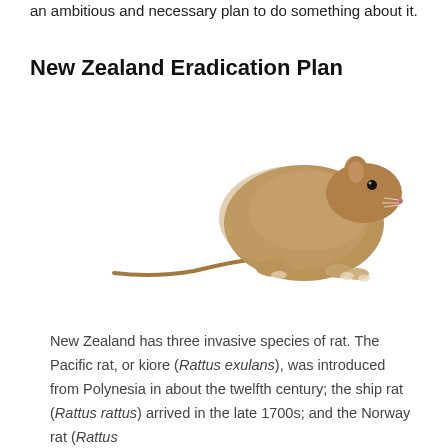an ambitious and necessary plan to do something about it.
New Zealand Eradication Plan
[Figure (photo): A brown rat (Norway rat / Rattus norvegicus) photographed against a white background, shown in profile facing right with its long tail extending to the left.]
New Zealand has three invasive species of rat. The Pacific rat, or kiore (Rattus exulans), was introduced from Polynesia in about the twelfth century; the ship rat (Rattus rattus) arrived in the late 1700s; and the Norway rat (Rattus